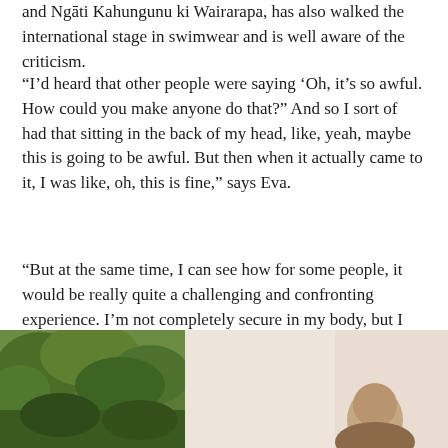and Ngāti Kahungunu ki Wairarapa, has also walked the international stage in swimwear and is well aware of the criticism.
“I’d heard that other people were saying ‘Oh, it’s so awful. How could you make anyone do that?” And so I sort of had that sitting in the back of my head, like, yeah, maybe this is going to be awful. But then when it actually came to it, I was like, oh, this is fine,” says Eva.
“But at the same time, I can see how for some people, it would be really quite a challenging and confronting experience. I’m not completely secure in my body, but I still manage just to go out there.”
[Figure (photo): Partial bottom portion of page showing a photo: left side has outdoor/nature scene with green trees, right side shows bottom portion of a person (head/shoulders visible at bottom right).]